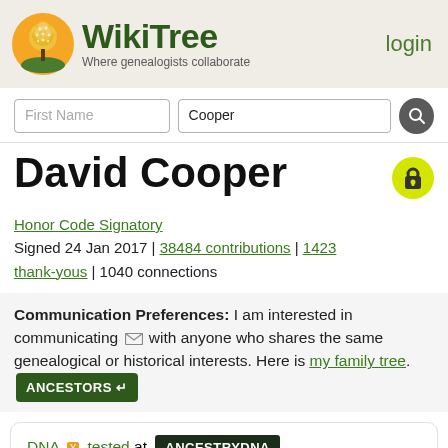[Figure (logo): WikiTree logo with tree icon and tagline 'Where genealogists collaborate', plus login link]
[Figure (screenshot): Search bar with 'First Name' and 'Cooper' inputs and search button]
David Cooper
Honor Code Signatory
Signed 24 Jan 2017 | 38484 contributions | 1423 thank-yous | 1040 connections
Communication Preferences: I am interested in communicating with anyone who shares the same genealogical or historical interests. Here is my family tree. ANCESTORS
DNA tested at ANCESTRYDNA